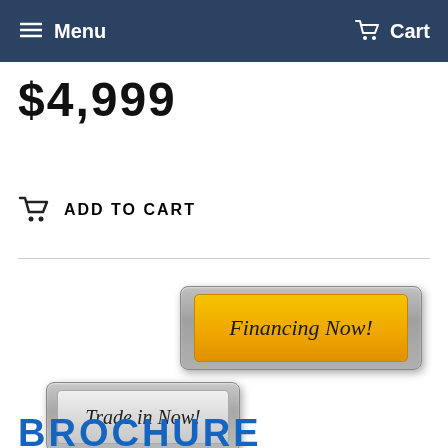Menu   Cart
$4,999
ADD TO CART
[Figure (screenshot): Yellow 'Financing Now!' button with metallic silver border]
[Figure (screenshot): Gray 'Trade in Now!' button with metallic silver border]
BROCHURE